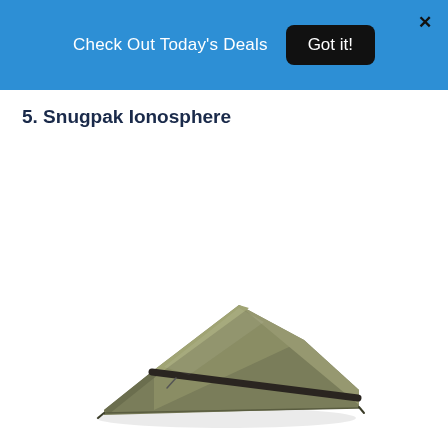Check Out Today's Deals  Got it!
5. Snugpak Ionosphere
[Figure (photo): Olive/khaki colored Snugpak Ionosphere one-person bivy tent on white background, low-profile wedge shape with dark pole channel running diagonally along top]